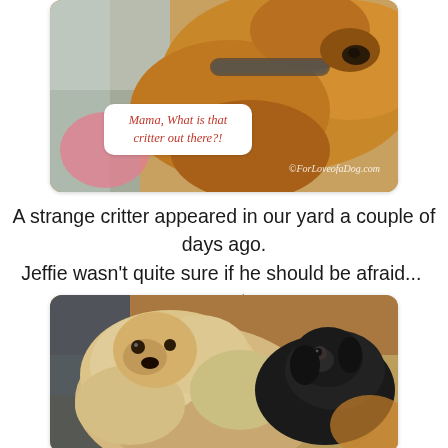[Figure (photo): Close-up photo of a golden retriever dog looking at camera, with another dog visible behind, with a speech bubble overlay reading 'Mama, What is that critter out there?!' and watermark 'ForLoveofaDog.com']
A strange critter appeared in our yard a couple of days ago.
Jeffie wasn't quite sure if he should be afraid...  or not.
[Figure (photo): Photo of two dogs together indoors - a fluffy light-colored dog in foreground and a black dog behind it, lying on a patterned rug]